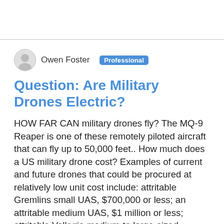[Figure (illustration): Circular avatar icon of user Owen Foster]
Owen Foster  Professional
Question: Are Military Drones Electric?
HOW FAR CAN military drones fly? The MQ-9 Reaper is one of these remotely piloted aircraft that can fly up to 50,000 feet.. How much does a US military drone cost? Examples of current and future drones that could be procured at relatively low unit cost include: attritable Gremlins small UAS, $700,000 or less; an attritable medium UAS, $1 million or less; attritable Valkyrie medium-to large-sized platforms, $2 million to $3 million; MQ-9 Reapers, about $20 million; and Avenger ... How long can a police drone stay in the air? Law enforcement drones are not armed. Military UAVs can loiter hours